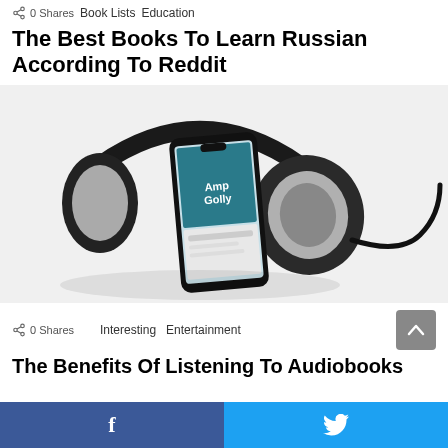0 Shares  Book Lists  Education
The Best Books To Learn Russian According To Reddit
[Figure (photo): Photo of black over-ear headphones with a smartphone resting inside them, the phone screen showing an audiobook app with 'Amp Golly' text, on a white background with a black cable trailing to the right.]
0 Shares  Interesting  Entertainment
The Benefits Of Listening To Audiobooks
f  (Twitter bird icon)